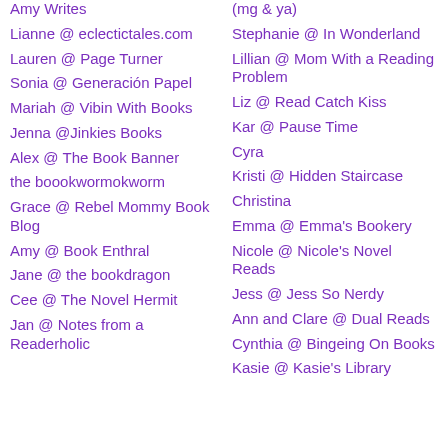Amy Writes
Lianne @ eclectictales.com
Lauren @ Page Turner
Sonia @ Generación Papel
Mariah @ Vibin With Books
Jenna @Jinkies Books
Alex @ The Book Banner
the boookwormokworm
Grace @ Rebel Mommy Book Blog
Amy @ Book Enthral
Jane @ the bookdragon
Cee @ The Novel Hermit
Jan @ Notes from a Readerholic
(mg & ya)
Stephanie @ In Wonderland
Lillian @ Mom With a Reading Problem
Liz @ Read Catch Kiss
Kar @ Pause Time
Cyra
Kristi @ Hidden Staircase
Christina
Emma @ Emma's Bookery
Nicole @ Nicole's Novel Reads
Jess @ Jess So Nerdy
Ann and Clare @ Dual Reads
Cynthia @ Bingeing On Books
Kasie @ Kasie's Library